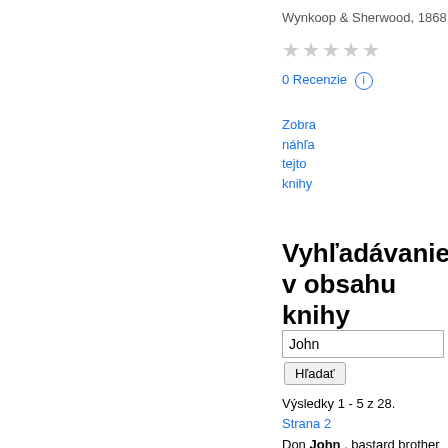Wynkoop & Sherwood, 1868
★★★★★
0 Recenzie ⓘ
Zobra náhľa tejto knihy
Vyhľadávanie v obsahu knihy
John
Hľadať
Výsledky 1 - 5 z 28.
Strana 2
Don John , bastard brother to Don Pedro . Claudio , a young lord of Florence , I friends of Don BENEDICK ,